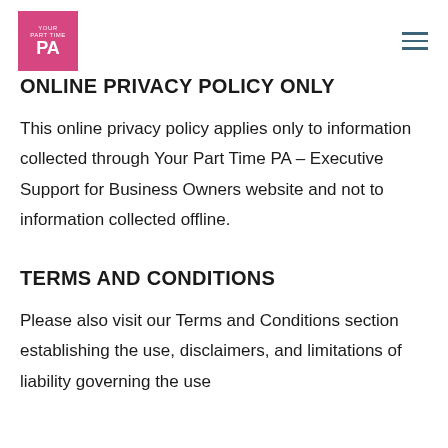Your Part Time PA logo and navigation menu
ONLINE PRIVACY POLICY ONLY
This online privacy policy applies only to information collected through Your Part Time PA – Executive Support for Business Owners website and not to information collected offline.
TERMS AND CONDITIONS
Please also visit our Terms and Conditions section establishing the use, disclaimers, and limitations of liability governing the use